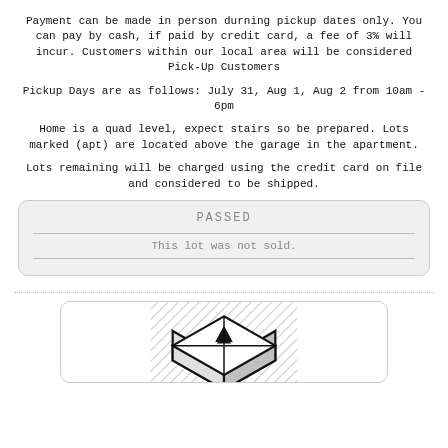Payment can be made in person durning pickup dates only. You can pay by cash, if paid by credit card, a fee of 3% will incur. Customers within our local area will be considered Pick-Up Customers
Pickup Days are as follows: July 31, Aug 1, Aug 2 from 10am - 6pm
Home is a quad level, expect stairs so be prepared. Lots marked (apt) are located above the garage in the apartment.
Lots remaining will be charged using the credit card on file and considered to be shipped.
PASSED
This lot was not sold.
[Figure (logo): Black and white isometric box/package logo icon]